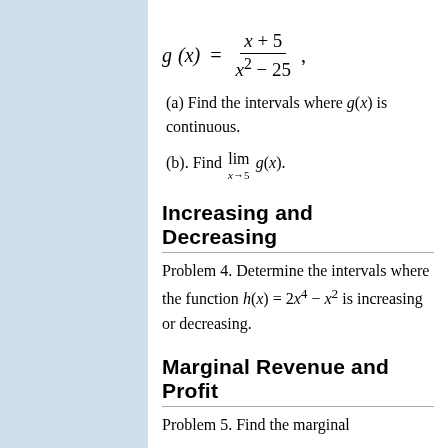(a) Find the intervals where g(x) is continuous.
(b). Find lim_{x→5} g(x).
Increasing and Decreasing
Problem 4. Determine the intervals where the function h(x) = 2x^4 − x^2 is increasing or decreasing.
Marginal Revenue and Profit
Problem 5. Find the marginal …